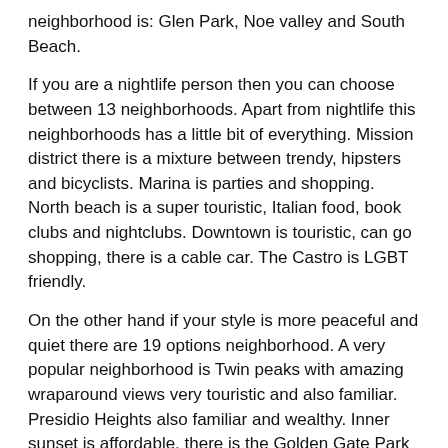neighborhood is: Glen Park, Noe valley and South Beach.
If you are a nightlife person then you can choose between 13 neighborhoods. Apart from nightlife this neighborhoods has a little bit of everything. Mission district there is a mixture between trendy, hipsters and bicyclists. Marina is parties and shopping. North beach is a super touristic, Italian food, book clubs and nightclubs. Downtown is touristic, can go shopping, there is a cable car. The Castro is LGBT friendly.
On the other hand if your style is more peaceful and quiet there are 19 options neighborhood. A very popular neighborhood is Twin peaks with amazing wraparound views very touristic and also familiar. Presidio Heights also familiar and wealthy. Inner sunset is affordable, there is the Golden Gate Park and you can find ethnic food. Bernal Heights is charming, far from downtown and excellent for families.
Nob Hill and Fisherman
Finally, if your stay in San Francisco is temporary and you are looking for something more touristic, then you should definitely go to Nob Hill and Fisherman's wharf there is a cable car, lots of restaurants and hotels. Haight-Ashbury has a mixture between